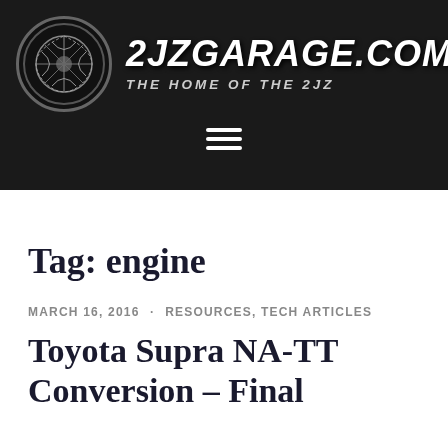2JZGARAGE.COM — THE HOME OF THE 2JZ
Tag: engine
MARCH 16, 2016 · RESOURCES, TECH ARTICLES
Toyota Supra NA-TT Conversion – Final